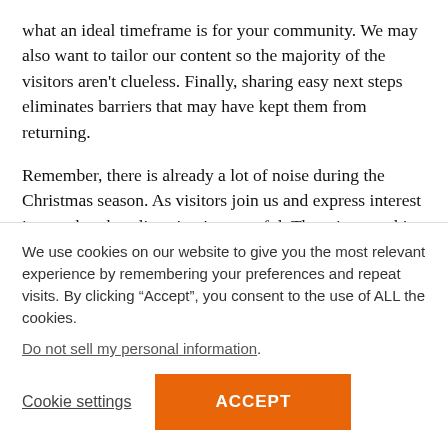what an ideal timeframe is for your community. We may also want to tailor our content so the majority of the visitors aren't clueless. Finally, sharing easy next steps eliminates barriers that may have kept them from returning.
Remember, there is already a lot of noise during the Christmas season. As visitors join us and express interest in our churches, listening is powerful. There is something special about being heard. Really listening helps us to know more about others and helps us to minister more specifically to them. Maybe we can
We use cookies on our website to give you the most relevant experience by remembering your preferences and repeat visits. By clicking “Accept”, you consent to the use of ALL the cookies.
Do not sell my personal information.
Cookie settings
ACCEPT